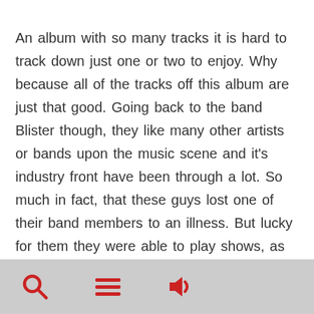An album with so many tracks it is hard to track down just one or two to enjoy. Why because all of the tracks off this album are just that good. Going back to the band Blister though, they like many other artists or bands upon the music scene and it's industry front have been through a lot. So much in fact, that these guys lost one of their band members to an illness. But lucky for them they were able to play shows, as well as write and record the material all needed and released on this album. While their band mate had passed before getting to
[Figure (other): Toolbar with three icons: a red magnifying glass (search), red horizontal lines (menu), and a red speaker/audio icon, on a gray background.]